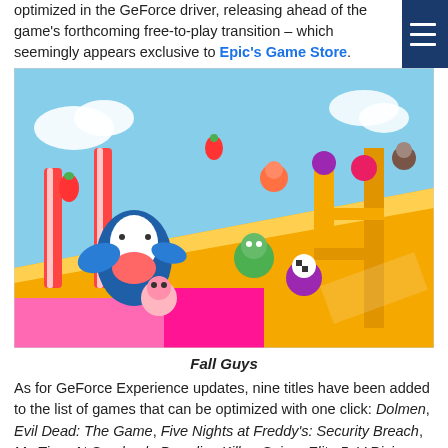optimized in the GeForce driver, releasing ahead of the game's forthcoming free-to-play transition – which seemingly appears exclusive to Epic's Game Store.
[Figure (screenshot): Screenshot from Fall Guys video game showing colorful cartoon characters racing on a brightly lit obstacle course with yellow, pink, and striped elements against a blue sky background.]
Fall Guys
As for GeForce Experience updates, nine titles have been added to the list of games that can be optimized with one click: Dolmen, Evil Dead: The Game, Five Nights at Freddy's: Security Breach, My Time At Sandrock, Paradise Killer, Sniper Elite 5, V Rising, Vampire: The Masquerade – Swansong, and Warhammer